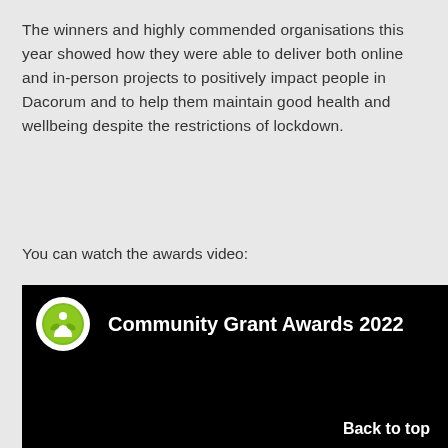The winners and highly commended organisations this year showed how they were able to deliver both online and in-person projects to positively impact people in Dacorum and to help them maintain good health and wellbeing despite the restrictions of lockdown.
You can watch the awards video:
[Figure (screenshot): Black video thumbnail showing a green circular logo and the text 'Community Grant Awards 2022' in white on a black background. A 'Back to top' link appears at the bottom right.]